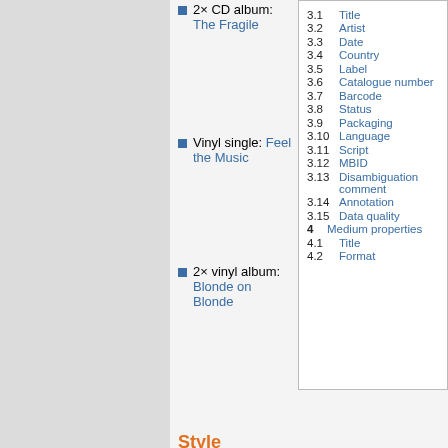2× CD album: The Fragile
Vinyl single: Feel the Music
2× vinyl album: Blonde on Blonde
3.1 Title
3.2 Artist
3.3 Date
3.4 Country
3.5 Label
3.6 Catalogue number
3.7 Barcode
3.8 Status
3.9 Packaging
3.10 Language
3.11 Script
3.12 MBID
3.13 Disambiguation comment
3.14 Annotation
3.15 Data quality
4 Medium properties
4.1 Title
4.2 Format
Style guidelines
Please see the guidelines for releases.
Release properties
Title